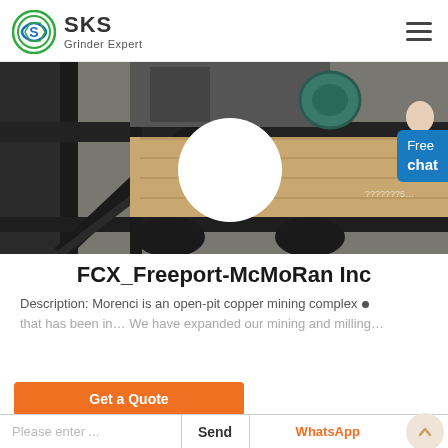SKS Grinder Expert
[Figure (photo): Industrial mining/grinding machine equipment close-up photo showing dark metal frame structure with mechanical components, a large white circle element visible, and partial watermark text]
FCX_Freeport-McMoRan Inc
Description: Morenci is an open-pit copper mining complex that has been in... We have expanded our mining and milling...